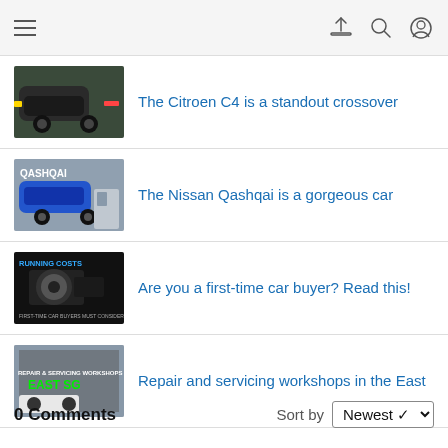Navigation bar with hamburger menu and icons
The Citroen C4 is a standout crossover
The Nissan Qashqai is a gorgeous car
Are you a first-time car buyer? Read this!
Repair and servicing workshops in the East
0 Comments    Sort by Newest